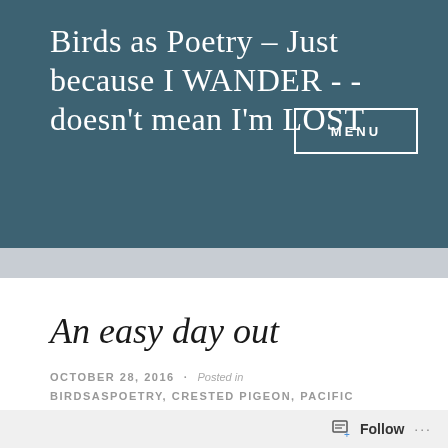Birds as Poetry – Just because I WANDER - -doesn't mean I'm LOST
MENU
An easy day out
OCTOBER 28, 2016 · Posted in BIRDSASPOETRY, CRESTED PIGEON, PACIFIC GULL, POINT COOK, SACRED KINGFISHER, YELLOW-TAILED BLACK-COCKATOO ·
Follow ···